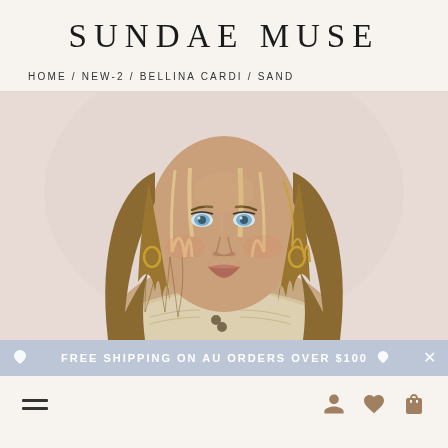SUNDAE MUSE
HOME / NEW-2 / BELLINA CARDI / SAND
[Figure (photo): A young woman with long wavy blonde highlighted hair, wearing a cream/sand colored knit cardigan, posing against a pale pink/beige background. She has blue eyes and is wearing gold hoop earrings and a delicate necklace.]
FREE SHIPPING ON AU ORDERS OVER $100